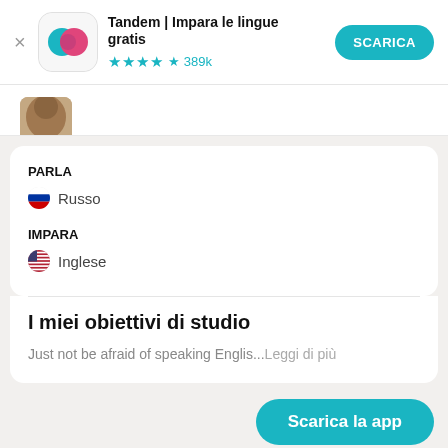Tandem | Impara le lingue gratis
★★★★½ 389k
PARLA
🇷🇺 Russo
IMPARA
🇺🇸 Inglese
I miei obiettivi di studio
Just not be afraid of speaking Englis...Leggi di più
Scarica la app